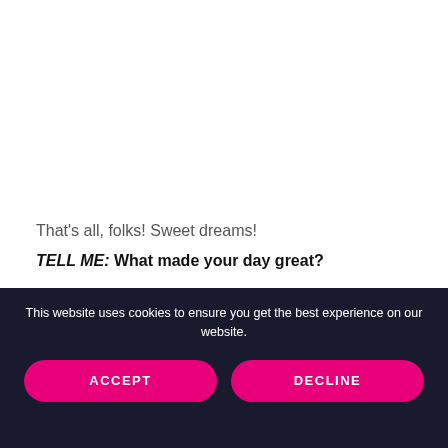That's all, folks! Sweet dreams!
TELL ME: What made your day great?
[Figure (other): Three pink/magenta rectangular button-like bars partially visible at the bottom of the main content area]
This website uses cookies to ensure you get the best experience on our website.
ACCEPT
DECLINE